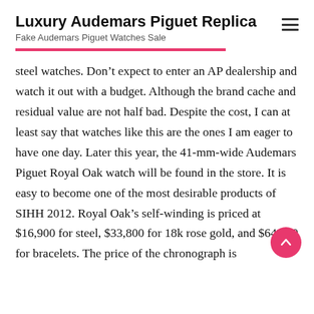Luxury Audemars Piguet Replica
Fake Audemars Piguet Watches Sale
steel watches. Don’t expect to enter an AP dealership and watch it out with a budget. Although the brand cache and residual value are not half bad. Despite the cost, I can at least say that watches like this are the ones I am eager to have one day. Later this year, the 41-mm-wide Audemars Piguet Royal Oak watch will be found in the store. It is easy to become one of the most desirable products of SIHH 2012. Royal Oak’s self-winding is priced at $16,900 for steel, $33,800 for 18k rose gold, and $64,800 for bracelets. The price of the chronograph is